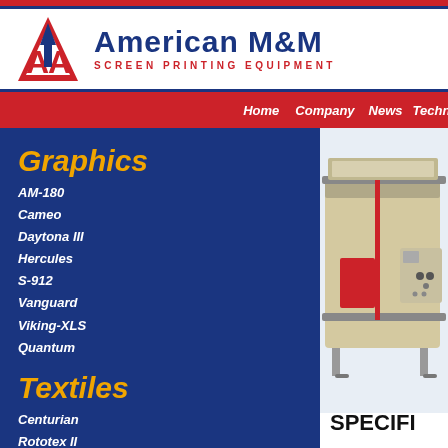American M&M SCREEN PRINTING EQUIPMENT
Home  Company  News  Techni...
Graphics
AM-180
Cameo
Daytona III
Hercules
S-912
Vanguard
Viking-XLS
Quantum
Textiles
Centurian
Rototex II
X-Press II
[Figure (photo): Screen printing machine — large flatbed screen printing press with control panel on right side, red and beige coloring, photographed at an angle on a light blue background.]
SPECIFI